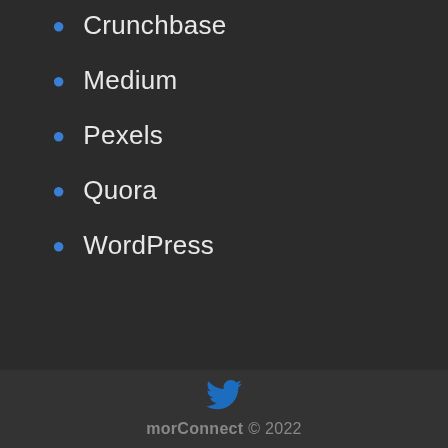Crunchbase
Medium
Pexels
Quora
WordPress
morConnect © 2022